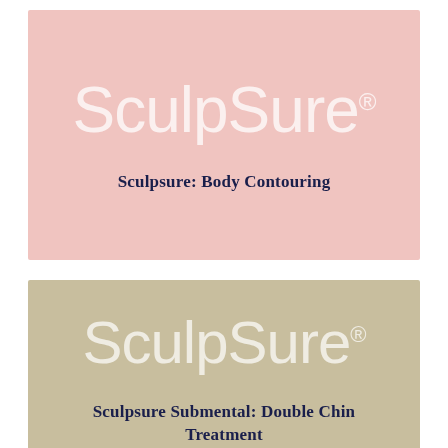[Figure (logo): SculpSure logo in white text on pink background]
Sculpsure: Body Contouring
[Figure (logo): SculpSure logo in white text on tan/khaki background]
Sculpsure Submental: Double Chin Treatment